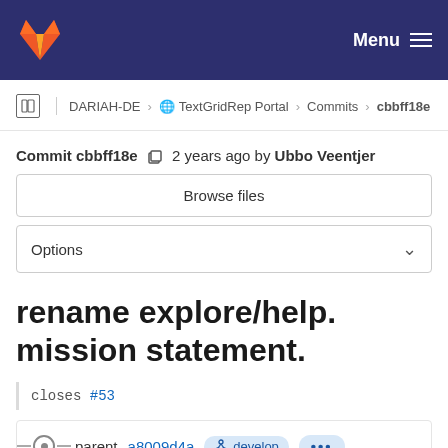GitLab header with Menu
DARIAH-DE > TextGridRep Portal > Commits > cbbff18e
Commit cbbff18e  2 years ago by Ubbo Veentjer
Browse files
Options
rename explore/help. mission statement.
closes #53
parent a8009d4a  develop  ...